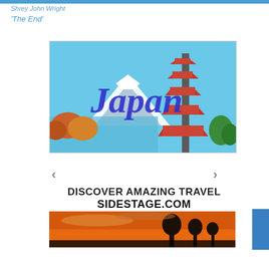'The End'
[Figure (illustration): Travel advertisement image showing Japan - Mt. Fuji and red pagoda with blue sky, with the word 'Japan' in large purple italic text overlaid]
DISCOVER AMAZING TRAVEL SIDESTAGE.COM
[Figure (photo): Sunset landscape with dramatic orange sky and silhouetted palm trees]